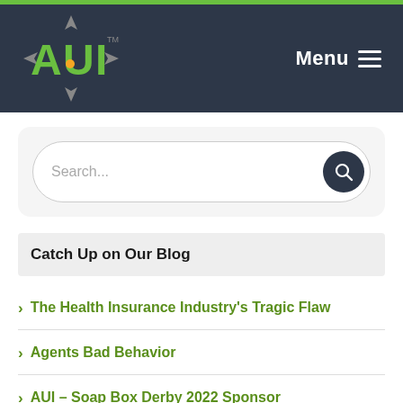[Figure (logo): AUI company logo with green letters and compass/arrow icon, on dark navy background navigation bar with Menu hamburger button on the right]
Search...
Catch Up on Our Blog
The Health Insurance Industry's Tragic Flaw
Agents Bad Behavior
AUI – Soap Box Derby 2022 Sponsor